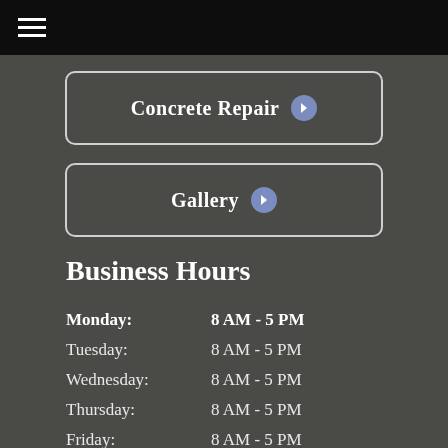≡
Concrete Repair ❯
Gallery ❯
Business Hours
| Day | Hours |
| --- | --- |
| Monday: | 8 AM - 5 PM |
| Tuesday: | 8 AM - 5 PM |
| Wednesday: | 8 AM - 5 PM |
| Thursday: | 8 AM - 5 PM |
| Friday: | 8 AM - 5 PM |
| Saturday: | By Appointment Only |
| Sunday: | Closed |